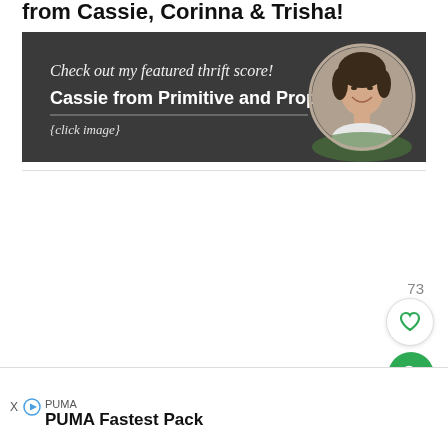from Cassie, Corinna & Trisha!
[Figure (photo): Dark chalkboard-style banner with white script text 'Check out my featured thrift score!' and bold text 'Cassie from Primitive and Proper', a dividing line, '{click image}' text, and a circular photo of a smiling woman with dark hair on the right side.]
73
[Figure (illustration): White circular button with a green heart outline icon (like/favorite button)]
[Figure (illustration): Green circular button with white magnifying glass/search icon]
[Figure (illustration): Advertisement banner: PUMA brand, PUMA Fastest Pack product text, SHOP NOW blue button, with ad disclosure icons (X and play button)]